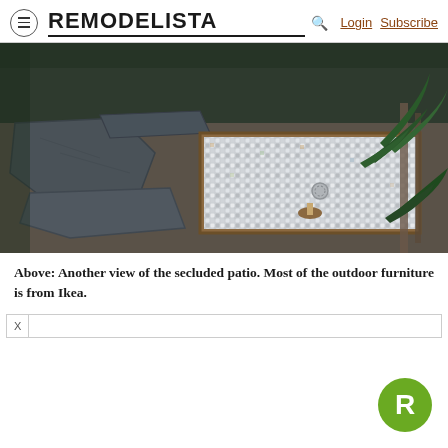REMODELISTA — Login Subscribe
[Figure (photo): Outdoor patio with large slate flagstones, gravel, and a framed mosaic tile surface inset into the ground, surrounded by plants and greenery.]
Above: Another view of the secluded patio. Most of the outdoor furniture is from Ikea.
[Figure (logo): Remodelista green circular R logo]